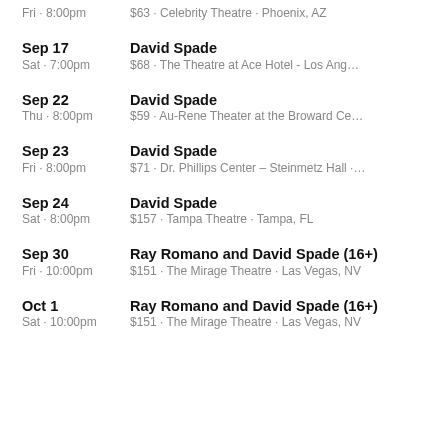Fri · 8:00pm  $63 · Celebrity Theatre · Phoenix, AZ
Sep 17  David Spade
Sat · 7:00pm  $68 · The Theatre at Ace Hotel - Los Ang…
Sep 22  David Spade
Thu · 8:00pm  $59 · Au-Rene Theater at the Broward Ce…
Sep 23  David Spade
Fri · 8:00pm  $71 · Dr. Phillips Center – Steinmetz Hall ·…
Sep 24  David Spade
Sat · 8:00pm  $157 · Tampa Theatre · Tampa, FL
Sep 30  Ray Romano and David Spade (16+)
Fri · 10:00pm  $151 · The Mirage Theatre · Las Vegas, NV
Oct 1  Ray Romano and David Spade (16+)
Sat · 10:00pm  $151 · The Mirage Theatre · Las Vegas, NV